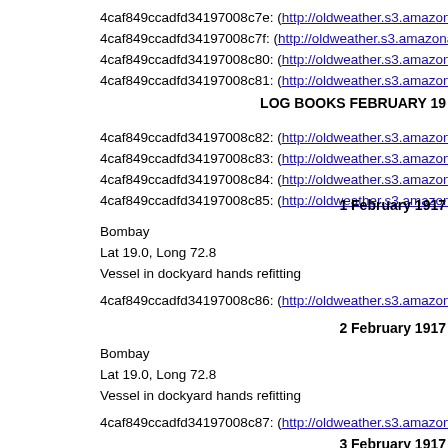4caf849ccadfd34197008c7e: (http://oldweather.s3.amazonaws.com/A
4caf849ccadfd34197008c7f: (http://oldweather.s3.amazonaws.com/AD
4caf849ccadfd34197008c80: (http://oldweather.s3.amazonaws.com/A
4caf849ccadfd34197008c81: (http://oldweather.s3.amazonaws.com/A
LOG BOOKS FEBRUARY 19
4caf849ccadfd34197008c82: (http://oldweather.s3.amazonaws.com/A
4caf849ccadfd34197008c83: (http://oldweather.s3.amazonaws.com/A
4caf849ccadfd34197008c84: (http://oldweather.s3.amazonaws.com/A
4caf849ccadfd34197008c85: (http://oldweather.s3.amazonaws.com/A
1 February 1917
Bombay
Lat 19.0, Long 72.8
Vessel in dockyard hands refitting
4caf849ccadfd34197008c86: (http://oldweather.s3.amazonaws.com/A
2 February 1917
Bombay
Lat 19.0, Long 72.8
Vessel in dockyard hands refitting
4caf849ccadfd34197008c87: (http://oldweather.s3.amazonaws.com/A
3 February 1917
Bombay